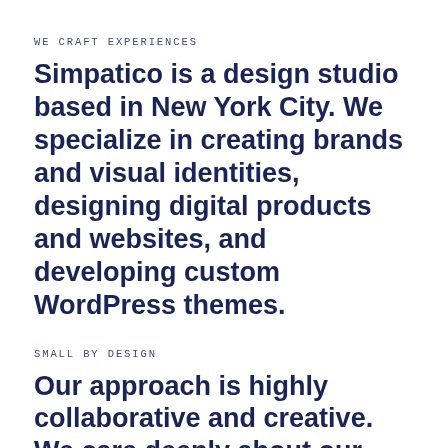WE CRAFT EXPERIENCES
Simpatico is a design studio based in New York City. We specialize in creating brands and visual identities, designing digital products and websites, and developing custom WordPress themes.
SMALL BY DESIGN
Our approach is highly collaborative and creative. We care deeply about our clients, and partner with companies, businesses, and organizations who are simpatico with our approach.